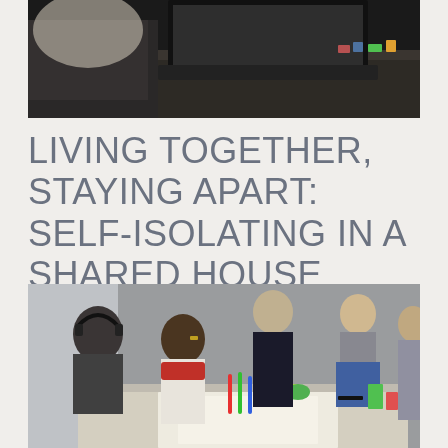[Figure (photo): Top portion of a photo showing a person sitting at a dark desk with colorful items, shot from above/side angle, dark moody tones]
LIVING TOGETHER, STAYING APART: SELF-ISOLATING IN A SHARED HOUSE
[Figure (photo): Group of young people sitting around a table collaborating, with papers, markers and other items on the table. Indoor setting with natural light from windows.]